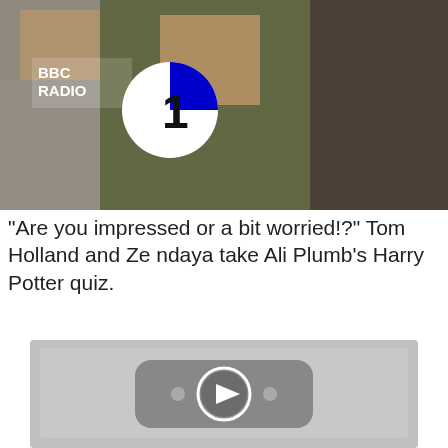[Figure (photo): BBC Radio 1 logo with two people standing, one in a green jacket and one in dark clothing, with a large white circle with '1' in blue background.]
"Are you impressed or a bit worried!?" Tom Holland and Zendaya take Ali Plumb's Harry Potter quiz.
[Figure (screenshot): A video player thumbnail showing a grey background with a YouTube-style play button icon (rounded rectangle with a play triangle inside, and two small dots on either side).]